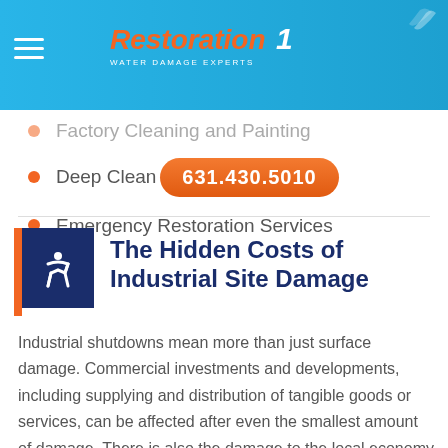Restoration 1 - Water Damage Experts | 631.430.5010
Factory Cleaning and Painting
Deep Cleaning  631.430.5010
Emergency Restoration Services
The Hidden Costs of Industrial Site Damage
Industrial shutdowns mean more than just surface damage. Commercial investments and developments, including supplying and distribution of tangible goods or services, can be affected after even the smallest amount of damage. There is also the damage to the local economy and ecosystems to consider. Industrial cleaning can require more attention than residential